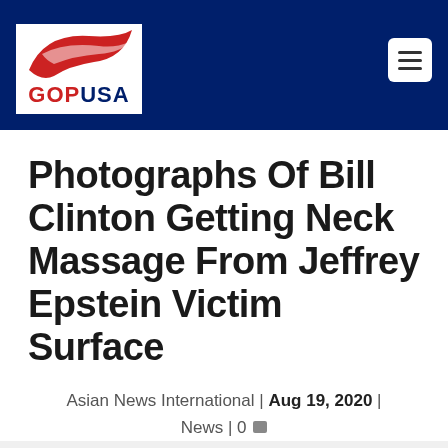GOPUSA
Photographs Of Bill Clinton Getting Neck Massage From Jeffrey Epstein Victim Surface
Asian News International | Aug 19, 2020 | News | 0